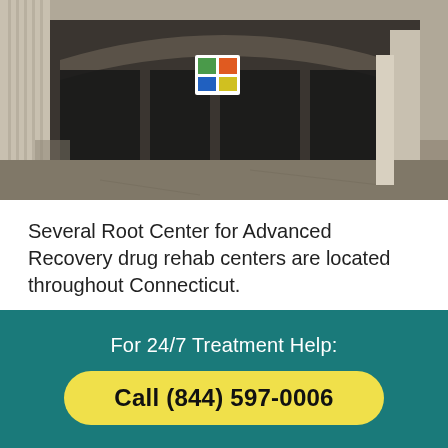[Figure (photo): Exterior photo of Root Center for Advanced Recovery facility in Norwich, Connecticut — a commercial building with large glass windows and arched entrance canopy.]
Several Root Center for Advanced Recovery drug rehab centers are located throughout Connecticut.
This drug and alcohol addiction treatment facility in Norwich is minutes from Griswold in the city of Norwich.
For 24/7 Treatment Help:
Call (844) 597-0006